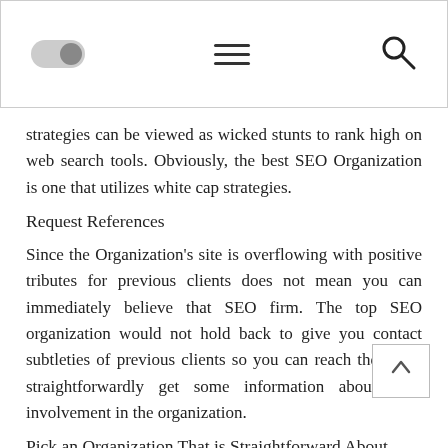[Figure (screenshot): Website header bar with toggle switch on left, hamburger menu in center, and search icon on right]
strategies can be viewed as wicked stunts to rank high on web search tools. Obviously, the best SEO Organization is one that utilizes white cap strategies.
Request References
Since the Organization's site is overflowing with positive tributes for previous clients does not mean you can immediately believe that SEO firm. The top SEO organization would not hold back to give you contact subtleties of previous clients so you can reach them and straightforwardly get some information about their involvement in the organization.
Pick an Organization That is Straightforward About Their Techniques